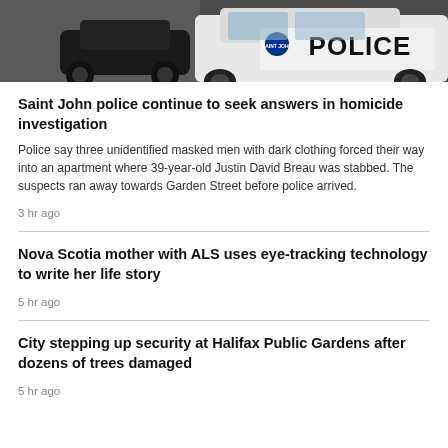[Figure (photo): Saint John Police vehicle — black car and white police SUV with 'SAINT JOHN POLICE' text visible on door]
Saint John police continue to seek answers in homicide investigation
Police say three unidentified masked men with dark clothing forced their way into an apartment where 39-year-old Justin David Breau was stabbed. The suspects ran away towards Garden Street before police arrived.
3 hr ago
Nova Scotia mother with ALS uses eye-tracking technology to write her life story
5 hr ago
City stepping up security at Halifax Public Gardens after dozens of trees damaged
5 hr ago